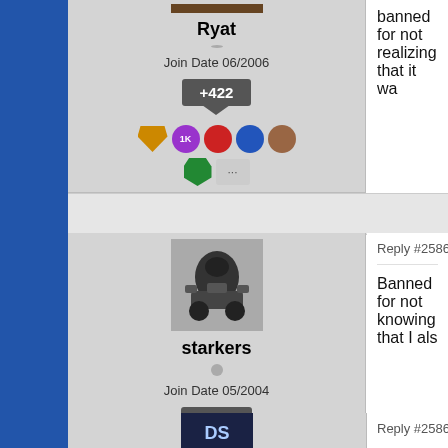banned for not realizing that it wa...
Ryat
Join Date 06/2006
+422
Reply #25868    January 28, 2022
starkers
Join Date 05/2004
+1153
Banned for not knowing that I als...
Reply #25869    January 28, 2022